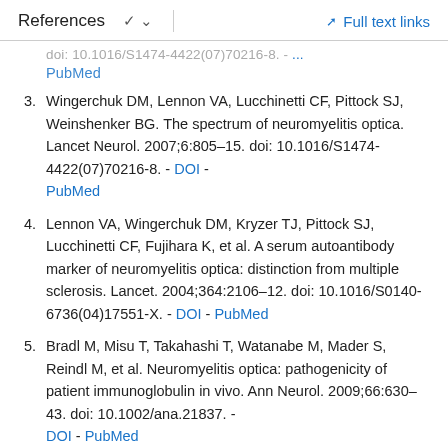References   ∨   Full text links
[partial top] doi: 10.1016/... - DOI - PubMed
3. Wingerchuk DM, Lennon VA, Lucchinetti CF, Pittock SJ, Weinshenker BG. The spectrum of neuromyelitis optica. Lancet Neurol. 2007;6:805–15. doi: 10.1016/S1474-4422(07)70216-8. - DOI - PubMed
4. Lennon VA, Wingerchuk DM, Kryzer TJ, Pittock SJ, Lucchinetti CF, Fujihara K, et al. A serum autoantibody marker of neuromyelitis optica: distinction from multiple sclerosis. Lancet. 2004;364:2106–12. doi: 10.1016/S0140-6736(04)17551-X. - DOI - PubMed
5. Bradl M, Misu T, Takahashi T, Watanabe M, Mader S, Reindl M, et al. Neuromyelitis optica: pathogenicity of patient immunoglobulin in vivo. Ann Neurol. 2009;66:630–43. doi: 10.1002/ana.21837. - DOI - PubMed